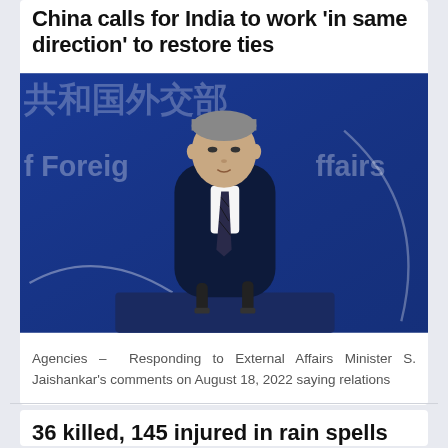China calls for India to work 'in same direction' to restore ties
[Figure (photo): A man in a dark suit and striped tie speaking at a podium in front of a blue backdrop with Chinese characters and the text 'of Foreign Affairs' visible in English — a Chinese Ministry of Foreign Affairs press briefing.]
Agencies – Responding to External Affairs Minister S. Jaishankar's comments on August 18, 2022 saying relations
36 killed, 145 injured in rain spells